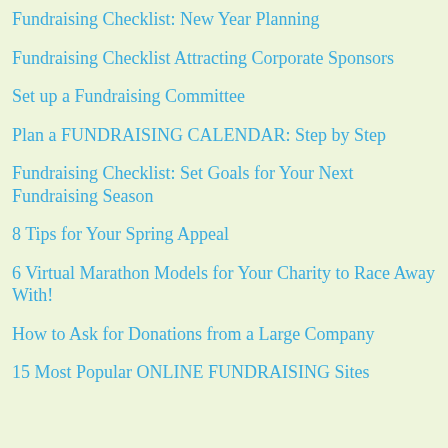Fundraising Checklist: New Year Planning
Fundraising Checklist Attracting Corporate Sponsors
Set up a Fundraising Committee
Plan a FUNDRAISING CALENDAR: Step by Step
Fundraising Checklist: Set Goals for Your Next Fundraising Season
8 Tips for Your Spring Appeal
6 Virtual Marathon Models for Your Charity to Race Away With!
How to Ask for Donations from a Large Company
15 Most Popular ONLINE FUNDRAISING Sites